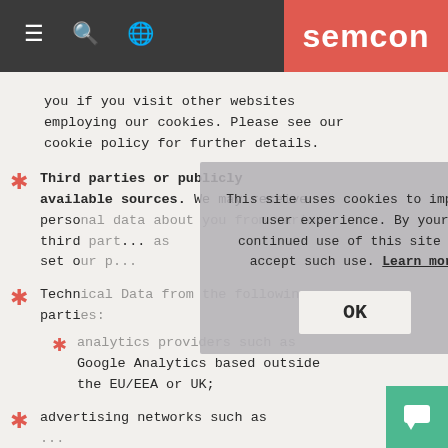Semcon navigation bar with hamburger menu, search, and globe icons; Semcon logo
you if you visit other websites employing our cookies. Please see our cookie policy for further details.
Third parties or publicly available sources. We may receive personal data about you from various third part... as set o...
Technical Data from the following parties:
analytics providers such as Google Analytics based outside the EU/EEA or UK;
advertising networks such as
This site uses cookies to improve user experience. By your continued use of this site you accept such use. Learn more
OK